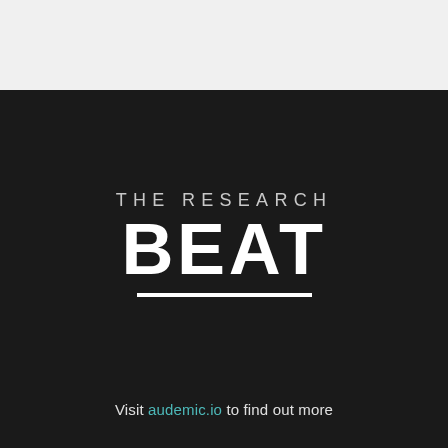THE RESEARCH BEAT
Visit audemic.io to find out more